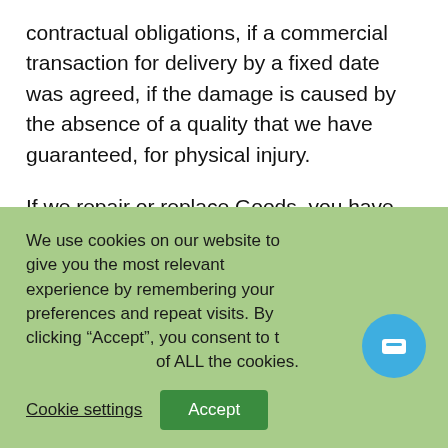contractual obligations, if a commercial transaction for delivery by a fixed date was agreed, if the damage is caused by the absence of a quality that we have guaranteed, for physical injury.
If we repair or replace Goods, you have no additional claim against us either under this agreement or by statute or common law, in respect of the defect.
When using any delivered Goods, the installation, operating and other technical regulations and
We use cookies on our website to give you the most relevant experience by remembering your preferences and repeat visits. By clicking “Accept”, you consent to the use of ALL the cookies.
Cookie settings
Accept